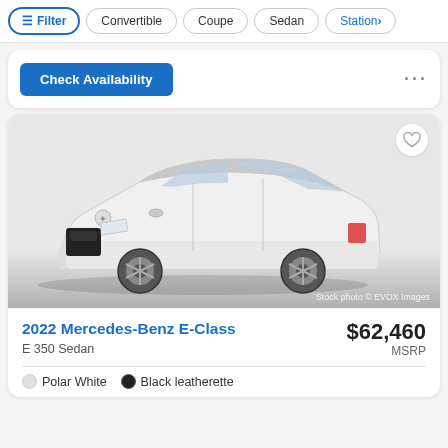Filter | Convertible | Coupe | Sedan | Station >
Check Availability
[Figure (photo): 2022 Mercedes-Benz E-Class E 350 Sedan in white, photographed from a front 3/4 angle on a white/gradient background. Stock photo © EVOX Images.]
2022 Mercedes-Benz E-Class
E 350 Sedan
$62,460
MSRP
Polar White   Black leatherette